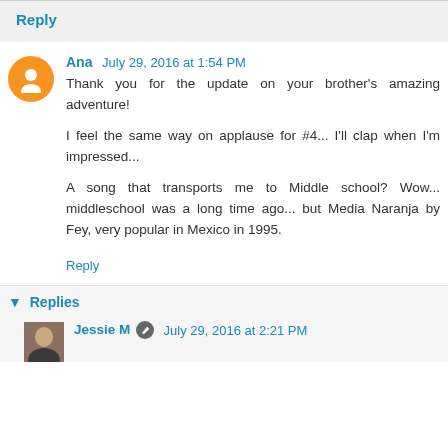Reply
Ana  July 29, 2016 at 1:54 PM
Thank you for the update on your brother's amazing adventure!

I feel the same way on applause for #4... I'll clap when I'm impressed...

A song that transports me to Middle school? Wow... middleschool was a long time ago... but Media Naranja by Fey, very popular in Mexico in 1995.
Reply
Replies
Jessie M  July 29, 2016 at 2:21 PM